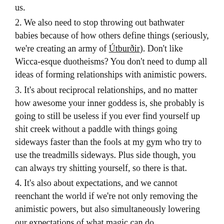us.
2. We also need to stop throwing out bathwater babies because of how others define things (seriously, we're creating an army of Útburðir). Don't like Wicca-esque duotheisms? You don't need to dump all ideas of forming relationships with animistic powers.
3. It's about reciprocal relationships, and no matter how awesome your inner goddess is, she probably is going to still be useless if you ever find yourself up shit creek without a paddle with things going sideways faster than the fools at my gym who try to use the treadmills sideways. Plus side though, you can always try shitting yourself, so there is that.
4. It's also about expectations, and we cannot reenchant the world if we're not only removing the animistic powers, but also simultaneously lowering our expectations of what magic can do.
So there you go! My Monday ramblings about all the